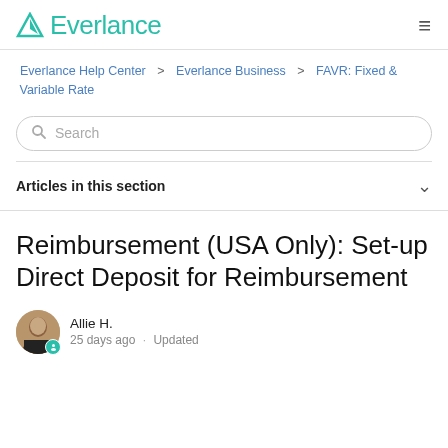Everlance
Everlance Help Center > Everlance Business > FAVR: Fixed & Variable Rate
Search
Articles in this section
Reimbursement (USA Only): Set-up Direct Deposit for Reimbursement
Allie H.
25 days ago · Updated